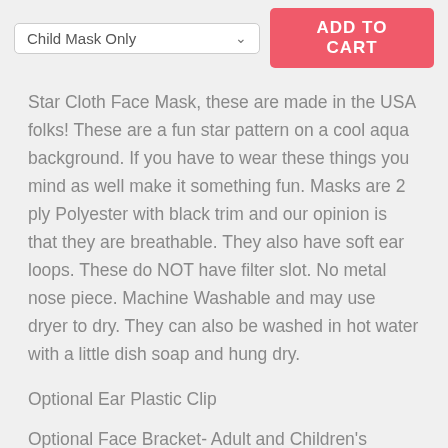[Figure (screenshot): E-commerce product page UI showing a dropdown selector labeled 'Child Mask Only' with a chevron arrow, and a red 'ADD TO CART' button to the right.]
Star Cloth Face Mask, these are made in the USA folks! These are a fun star pattern on a cool aqua background. If you have to wear these things you mind as well make it something fun. Masks are 2 ply Polyester with black trim and our opinion is that they are breathable. They also have soft ear loops. These do NOT have filter slot. No metal nose piece. Machine Washable and may use dryer to dry. They can also be washed in hot water with a little dish soap and hung dry.
Optional Ear Plastic Clip
Optional Face Bracket- Adult and Children's